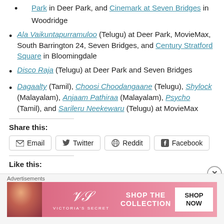Park in Deer Park, and Cinemark at Seven Bridges in Woodridge
Ala Vaikuntapurramuloo (Telugu) at Deer Park, MovieMax, South Barrington 24, Seven Bridges, and Century Stratford Square in Bloomingdale
Disco Raja (Telugu) at Deer Park and Seven Bridges
Dagaalty (Tamil), Choosi Choodangaane (Telugu), Shylock (Malayalam), Anjaam Pathiraa (Malayalam), Psycho (Tamil), and Sarileru Neekewaru (Telugu) at MovieMax
Share this:
Email Twitter Reddit Facebook
Like this:
[Figure (other): Victoria's Secret advertisement banner with model, logo, 'SHOP THE COLLECTION' text and 'SHOP NOW' button]